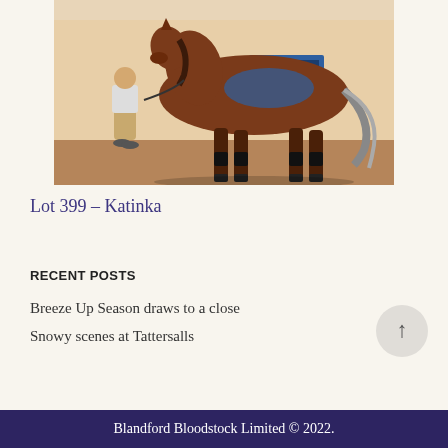[Figure (photo): A bay/chestnut horse standing on a dirt surface, being held by a person in khaki trousers. The horse is facing right and has black legs and a grey tail. A blue sign is visible in the background.]
Lot 399 – Katinka
RECENT POSTS
Breeze Up Season draws to a close
Snowy scenes at Tattersalls
Blandford Bloodstock Limited © 2022.